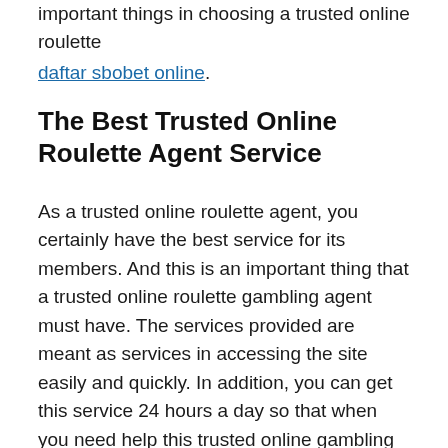important things in choosing a trusted online roulette daftar sbobet online.
The Best Trusted Online Roulette Agent Service
As a trusted online roulette agent, you certainly have the best service for its members. And this is an important thing that a trusted online roulette gambling agent must have. The services provided are meant as services in accessing the site easily and quickly. In addition, you can get this service 24 hours a day so that when you need help this trusted online gambling site is ready to help you.
In addition, there are many attractive bonuses that can be obtained by all members of the site. And also the games provided are also fair where there is no cheating made